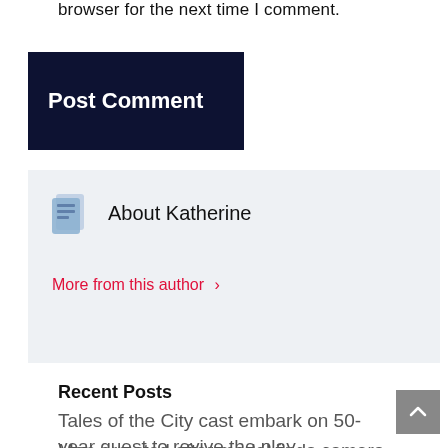browser for the next time I comment.
Post Comment
About Katherine
More from this author ›
Recent Posts
Tales of the City cast embark on 50-year quest to revive the play
Man arrested after model finds camera